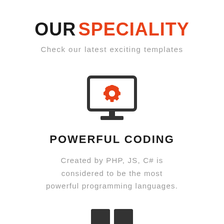OUR SPECIALITY
Check our latest exciting templates
[Figure (illustration): Monitor icon with an orange gear/cog symbol on screen, dark gray outline style]
POWERFUL CODING
Created by PHP, JS, C# is considered to be the most powerful programming languages.